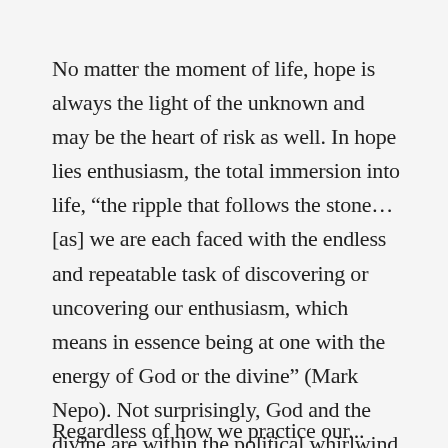No matter the moment of life, hope is always the light of the unknown and may be the heart of risk as well. In hope lies enthusiasm, the total immersion into life, “the ripple that follows the stone…[as] we are each faced with the endless and repeatable task of discovering or uncovering our enthusiasm, which means in essence being at one with the energy of God or the divine” (Mark Nepo). Not surprisingly, God and the divine are within the political whirlwind of the United States while the world watches.
Regardless of how we practice our...